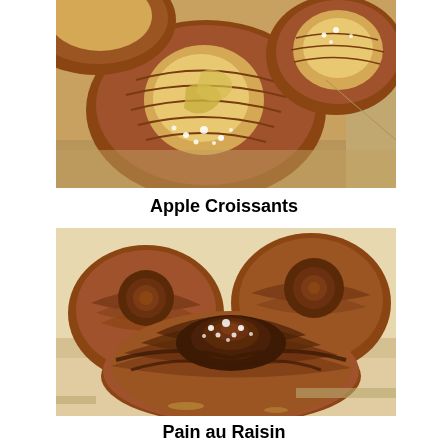[Figure (photo): Close-up photo of golden-brown apple croissants (Danish pastries) with flaky layers and apple filling, dusted with powdered sugar, on a baking tray]
Apple Croissants
[Figure (photo): Close-up photo of spiral pain au raisin pastries with layered dough, dark filling, and powdered sugar topping, on a baking tray]
Pain au Raisin